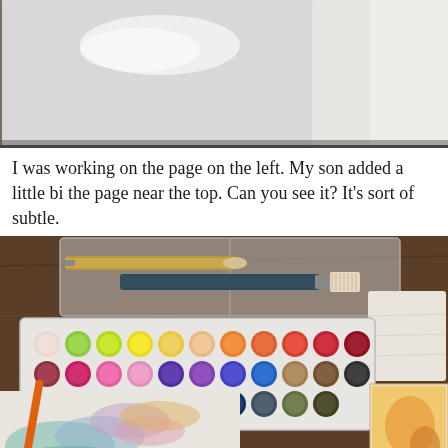[Figure (photo): Top photo showing an open sketchbook or art journal with a pale grey/white painted page on the left, with a subtle white shape near the top. The right page appears lighter. Dark textured surface underneath.]
I was working on the page on the left. My son added a little bi the page near the top. Can you see it? It's sort of subtle.
[Figure (photo): Bottom photo showing a watercolor paint set with many colorful paint wells arranged in rows (reds, yellows, greens, blues, purples, browns, etc.), several paintbrushes in a clear case on top, a watercolor painting in progress with pastel washes of pink, blue, purple, teal, and orange/yellow visible on paper, an orange paintbrush handle visible, a folded paper towel/napkin on the right, and a book with warm-toned image on far right. All on a wooden surface.]